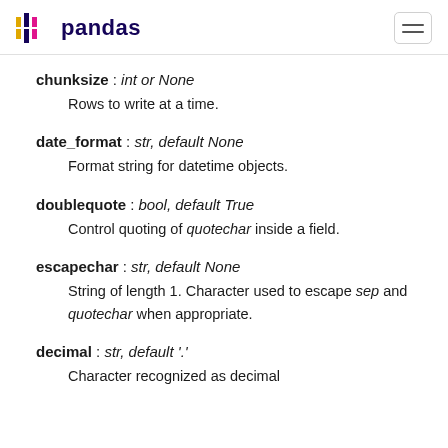pandas
chunksize : int or None
    Rows to write at a time.
date_format : str, default None
    Format string for datetime objects.
doublequote : bool, default True
    Control quoting of quotechar inside a field.
escapechar : str, default None
    String of length 1. Character used to escape sep and quotechar when appropriate.
decimal : str, default '.'
    Character recognized as decimal